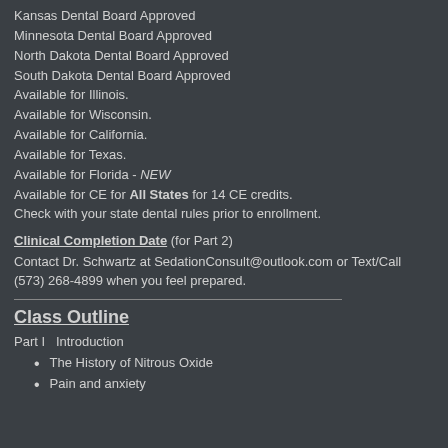Kansas Dental Board Approved
Minnesota Dental Board Approved
North Dakota Dental Board Approved
South Dakota Dental Board Approved
Available for Illinois.
Available for Wisconsin.
Available for California.
Available for Texas.
Available for Florida - NEW
Available for CE for All States for 14 CE credits.
Check with your state dental rules prior to enrollment.
Clinical Completion Date (for Part 2)
Contact Dr. Schwartz at SedationConsult@outlook.com or Text/Call (573) 268-4899 when you feel prepared.
Class Outline
Part I  Introduction
The History of Nitrous Oxide
Pain and anxiety